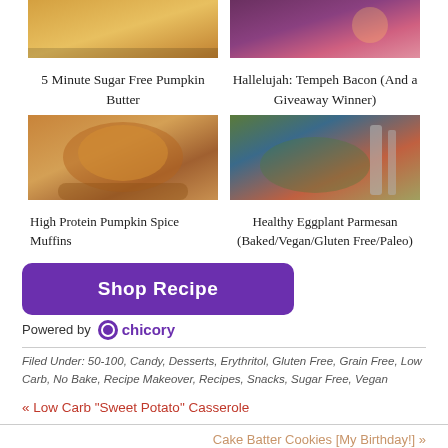[Figure (photo): Top food image left - pumpkin butter]
[Figure (photo): Top food image right - tempeh bacon]
5 Minute Sugar Free Pumpkin Butter
Hallelujah: Tempeh Bacon (And a Giveaway Winner)
[Figure (photo): Muffin photo - High Protein Pumpkin Spice Muffins]
[Figure (photo): Eggplant parmesan photo on a decorative plate]
High Protein Pumpkin Spice Muffins
Healthy Eggplant Parmesan (Baked/Vegan/Gluten Free/Paleo)
[Figure (other): Shop Recipe button - purple rounded rectangle with Chicory branding]
Filed Under: 50-100, Candy, Desserts, Erythritol, Gluten Free, Grain Free, Low Carb, No Bake, Recipe Makeover, Recipes, Snacks, Sugar Free, Vegan
« Low Carb “Sweet Potato” Casserole
Cake Batter Cookies [My Birthday!] »